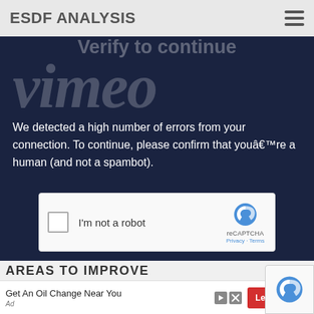ESDF ANALYSIS
[Figure (screenshot): Vimeo CAPTCHA verification overlay on a dark navy background with 'Verify to continue' heading and 'vimeo' watermark text]
We detected a high number of errors from your connection. To continue, please confirm that youâre a human (and not a spambot).
[Figure (screenshot): reCAPTCHA checkbox widget with 'I'm not a robot' label and Google reCAPTCHA logo with Privacy and Terms links]
AREAS TO IMPROVE
Get An Oil Change Near You
Ad